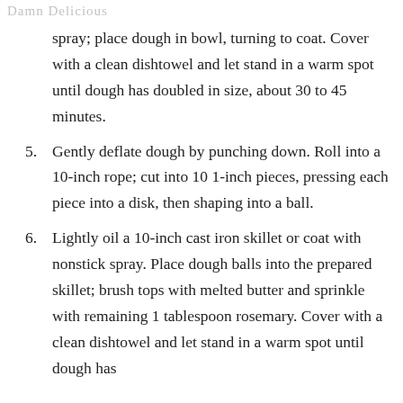Damn Delicious
spray; place dough in bowl, turning to coat. Cover with a clean dishtowel and let stand in a warm spot until dough has doubled in size, about 30 to 45 minutes.
5. Gently deflate dough by punching down. Roll into a 10-inch rope; cut into 10 1-inch pieces, pressing each piece into a disk, then shaping into a ball.
6. Lightly oil a 10-inch cast iron skillet or coat with nonstick spray. Place dough balls into the prepared skillet; brush tops with melted butter and sprinkle with remaining 1 tablespoon rosemary. Cover with a clean dishtowel and let stand in a warm spot until dough has